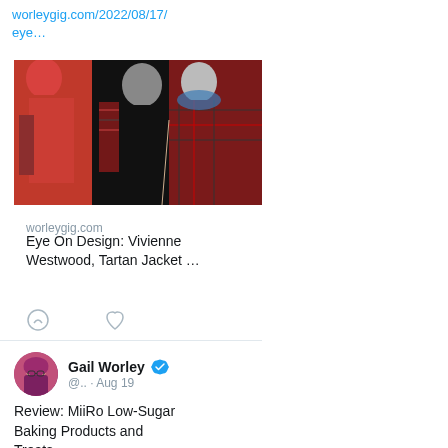worleygig.com/2022/08/17/eye…
[Figure (photo): Photo of fashion mannequins displaying clothing including a red/pink coat on the left and a black outfit with tartan/plaid jacket on the right, against a dark background]
worleygig.com
Eye On Design: Vivienne Westwood, Tartan Jacket …
Gail Worley
@.. · Aug 19
Review: MiiRo Low-Sugar Baking Products and Treats
worleygig.com/2022/08/16/rev…